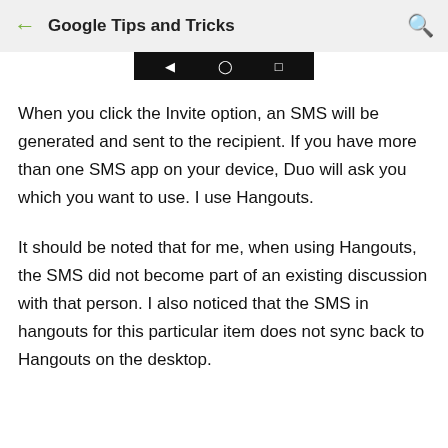Google Tips and Tricks
[Figure (screenshot): Android navigation bar with back, home, and recents buttons on a black background]
When you click the Invite option, an SMS will be generated and sent to the recipient. If you have more than one SMS app on your device, Duo will ask you which you want to use. I use Hangouts.
It should be noted that for me, when using Hangouts, the SMS did not become part of an existing discussion with that person. I also noticed that the SMS in hangouts for this particular item does not sync back to Hangouts on the desktop.